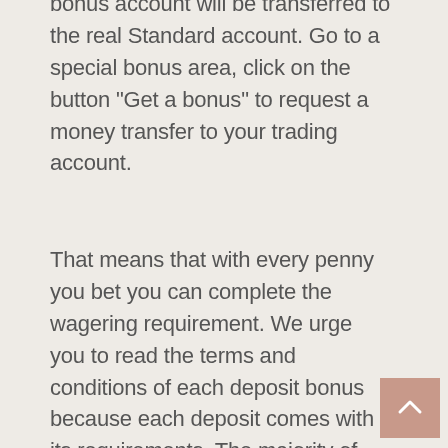bonus account will be transferred to the real Standard account. Go to a special bonus area, click on the button "Get a bonus" to request a money transfer to your trading account.
That means that with every penny you bet you can complete the wagering requirement. We urge you to read the terms and conditions of each deposit bonus because each deposit comes with its requirements. The majority of the online websites have incorporated the up to 100% match bonus in their promo collection. As the name implies, your deposit shall be matched to 100%. AUS online casino players also have the opportunity to join Syndicate Casino VIP program where they get to enjoy loads of bonuses, free spins and